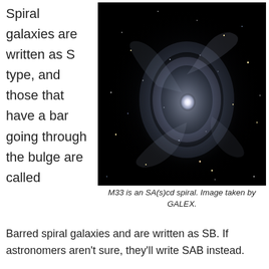Spiral galaxies are written as S type, and those that have a bar going through the bulge are called
[Figure (photo): Ultraviolet image of spiral galaxy M33 (Triangulum Galaxy) taken by GALEX, showing spiral arms and star-forming regions on a black background]
M33 is an SA(s)cd spiral. Image taken by GALEX.
Barred spiral galaxies and are written as SB. If astronomers aren't sure, they'll write SAB instead.